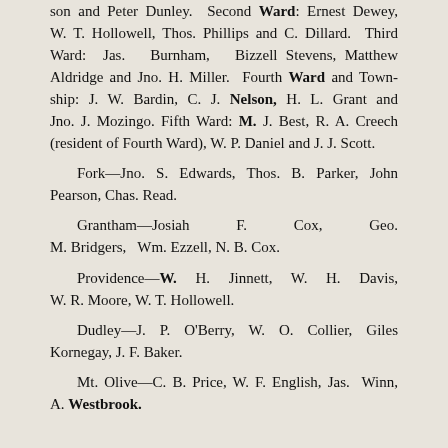son and Peter Dunley. Second Ward: Ernest Dewey, W. T. Hollowell, Thos. Phillips and C. Dillard. Third Ward: Jas. Burnham, Bizzell Stevens, Matthew Aldridge and Jno. H. Miller. Fourth Ward and Township: J. W. Bardin, C. J. Nelson, H. L. Grant and Jno. J. Mozingo. Fifth Ward: M. J. Best, R. A. Creech (resident of Fourth Ward), W. P. Daniel and J. J. Scott.
Fork—Jno. S. Edwards, Thos. B. Parker, John Pearson, Chas. Read.
Grantham—Josiah F. Cox, Geo. M. Bridgers, Wm. Ezzell, N. B. Cox.
Providence—W. H. Jinnett, W. H. Davis, W. R. Moore, W. T. Hollowell.
Dudley—J. P. O'Berry, W. O. Collier, Giles Kornegay, J. F. Baker.
Mt. Olive—C. B. Price, W. F. English, Jas. Winn, A. Westbrook.